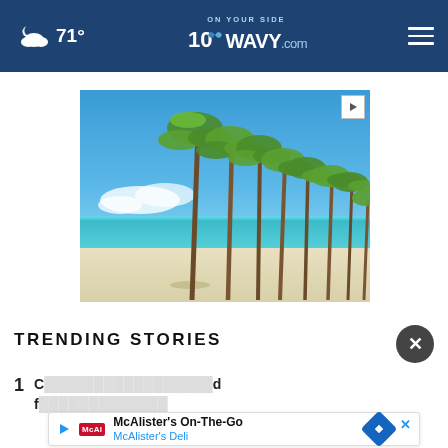71° WAVY.com ON YOUR SIDE
[Figure (photo): Tropical beach scene with tall palm trees along a white sandy beach with turquoise ocean water and blue sky. Advertisement image with play button badge in top right corner.]
TRENDING STORIES
1  C...d f...
[Figure (infographic): McAlister's On-The-Go advertisement banner showing McAlister's Deli branding with navigation arrow icon.]